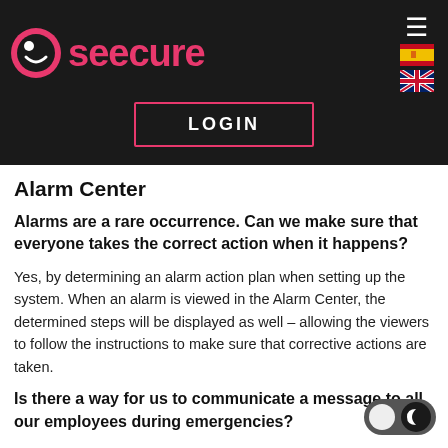[Figure (logo): Seecure logo with pink circle icon and pink text 'seecure' on dark background, hamburger menu icon, Spanish and UK flag icons]
[Figure (screenshot): LOGIN button with pink border on dark background]
Alarm Center
Alarms are a rare occurrence. Can we make sure that everyone takes the correct action when it happens?
Yes, by determining an alarm action plan when setting up the system. When an alarm is viewed in the Alarm Center, the determined steps will be displayed as well – allowing the viewers to follow the instructions to make sure that corrective actions are taken.
Is there a way for us to communicate a message to all our employees during emergencies?